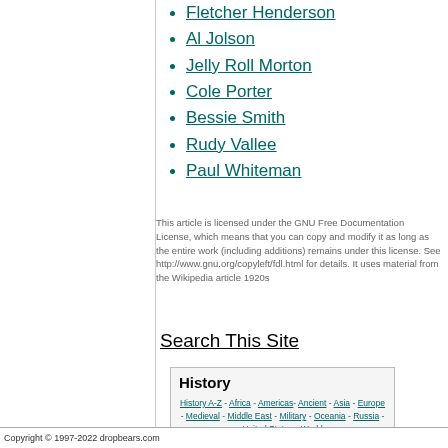Fletcher Henderson
Al Jolson
Jelly Roll Morton
Cole Porter
Bessie Smith
Rudy Vallee
Paul Whiteman
This article is licensed under the GNU Free Documentation License, which means that you can copy and modify it as long as the entire work (including additions) remains under this license. See http://www.gnu.org/copyleft/fdl.html for details. It uses material from the Wikipedia article 1920s
Search This Site
| History |
| --- |
| History A-Z - Africa - Americas- Ancient - Asia - Europe - Medieval - Middle East - Military - Oceania - Russia - United States - World |
Copyright © 1997-2022 dropbears.com